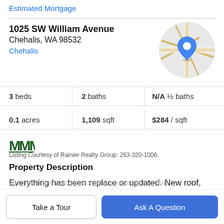Estimated Mortgage
1025 SW William Avenue
Chehalis, WA 98532
Chehalis
[Figure (map): Circular map thumbnail showing street map with blue location pin marker in center]
3 beds | 2 baths | N/A ½ baths
0.1 acres | 1,109 sqft | $284 / sqft
[Figure (logo): Rainier Realty Group logo - stylized M/mountain icon in dark green]
Listing Courtesy of Rainier Realty Group: 253-320-1006.
Property Description
Everything has been replace or updated. New roof, siding, windows, doors, hardware, laminate flooring, outlets,